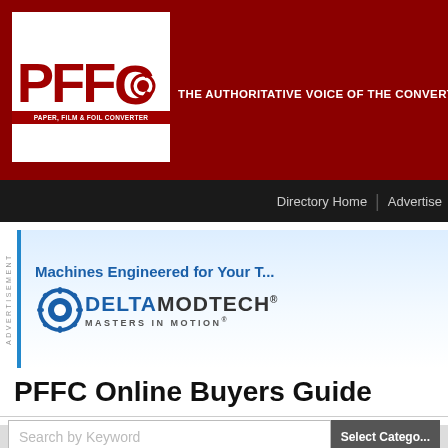[Figure (logo): PFFC Paper, Film & Foil Converter logo with red background and white box containing red PFFC letters]
THE AUTHORITATIVE VOICE OF THE CONVERTING CO...
Directory Home | Advertise
[Figure (logo): Delta ModTech advertisement banner - Machines Engineered for Your T... with gear logo, MASTERS IN MOTION]
PFFC Online Buyers Guide
PFFC Online Buyers Guide » EQUIPMENT, ACCESSORIES & MACHINERY » Print...
Search by Keyword   Select Catego...